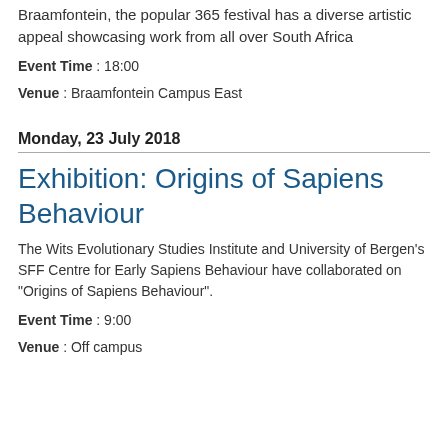Braamfontein, the popular 365 festival has a diverse artistic appeal showcasing work from all over South Africa
Event Time : 18:00
Venue : Braamfontein Campus East
Monday, 23 July 2018
Exhibition: Origins of Sapiens Behaviour
The Wits Evolutionary Studies Institute and University of Bergen's SFF Centre for Early Sapiens Behaviour have collaborated on "Origins of Sapiens Behaviour".
Event Time : 9:00
Venue : Off campus